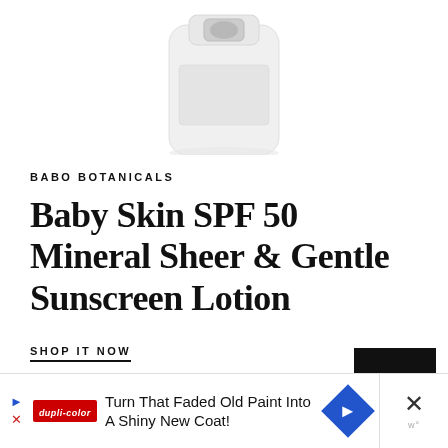[Figure (photo): White lotion bottle with flip-top cap, partially cropped at top of page]
BABO BOTANICALS
Baby Skin SPF 50 Mineral Sheer & Gentle Sunscreen Lotion
SHOP IT NOW
[Figure (other): Black square button with up arrow and text TOP]
[Figure (other): Advertisement banner: Turn That Faded Old Paint Into A Shiny New Coat! with Dupli-Color logo and navigation arrow icon]